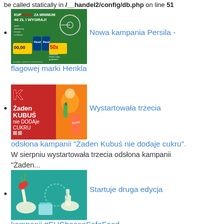be called statically in /__handel2/config/db.php on line 51
Nowa kampania Persila - flagowej marki Henkla
[Figure (photo): Persil campaign advertisement - green background with Persil products, bicycle, and prizes]
Wystartowała trzecia odsłona kampanii „Żaden Kubuś nie dodaje cukru”.
[Figure (photo): Kubuś campaign - red background with K logo, girl, text Żaden Kubuś nie dodaje cukru]
W sierpniu wystartowała trzecia odsłona kampanii „Żaden...
Startuje druga edycja kampanii #EUChooseSafeFood
[Figure (photo): EU Choose Safe Food campaign - teal background with hands holding vegetables and thumbs up]